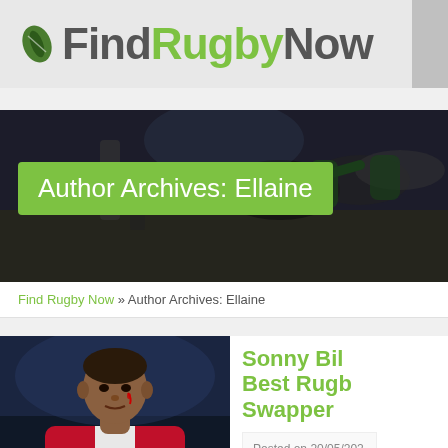FindRugbyNow
[Figure (photo): Rugby scrum action photo used as banner background for Author Archives page]
Author Archives: Ellaine
Find Rugby Now » Author Archives: Ellaine
[Figure (photo): Photo of Sonny Bill Williams in a red and white rugby jersey with a cut on his face]
Sonny Bill Best Rugby Swapper
Posted on 20/05/202
Posted in Internatio...